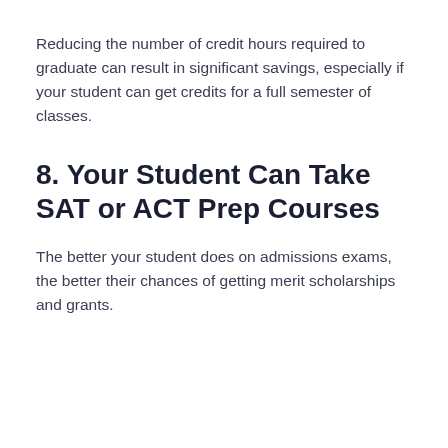Reducing the number of credit hours required to graduate can result in significant savings, especially if your student can get credits for a full semester of classes.
8. Your Student Can Take SAT or ACT Prep Courses
The better your student does on admissions exams, the better their chances of getting merit scholarships and grants.